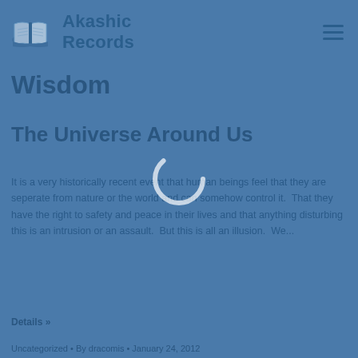Akashic Records
Wisdom
The Universe Around Us
It is a very historically recent event that human beings feel that they are seperate from nature or the world and can somehow control it.  That they have the right to safety and peace in their lives and that anything disturbing this is an intrusion or an assault.  But this is all an illusion.  We...
Details »
Uncategorized • By dracomis • January 24, 2012